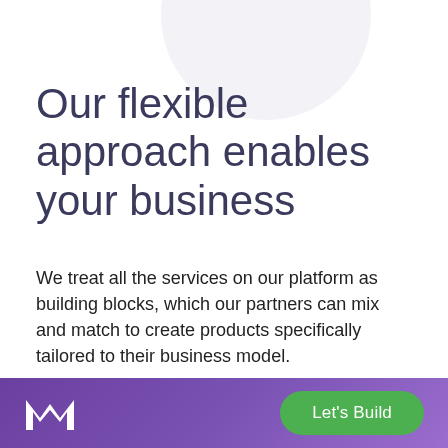Our flexible approach enables your business
We treat all the services on our platform as building blocks, which our partners can mix and match to create products specifically tailored to their business model.
These building blocks include single or multi currency accounts, physical and virtual cards, currency exchange, P2P and international payments and more - all accessible
[Figure (logo): White stylized letter M logo on purple footer bar]
Let's Build